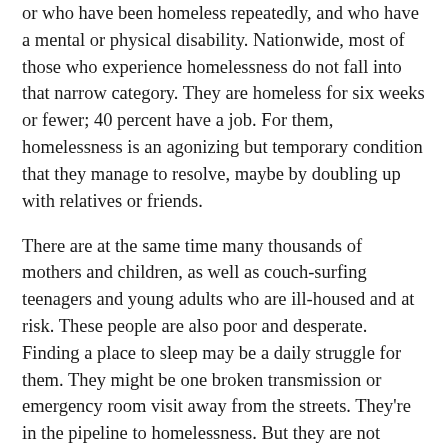or who have been homeless repeatedly, and who have a mental or physical disability. Nationwide, most of those who experience homelessness do not fall into that narrow category. They are homeless for six weeks or fewer; 40 percent have a job. For them, homelessness is an agonizing but temporary condition that they manage to resolve, maybe by doubling up with relatives or friends.
There are at the same time many thousands of mothers and children, as well as couch-surfing teenagers and young adults who are ill-housed and at risk. These people are also poor and desperate. Finding a place to sleep may be a daily struggle for them. They might be one broken transmission or emergency room visit away from the streets. They're in the pipeline to homelessness. But they are not homeless according to the bureaucratic definition. They are not sleeping on a sidewalk or in their cars or in shelters. Houston can offer these people a hand, but Mr. Turner is not promising to end the precariousness of their lives.
"We are not here to solve poverty. We aren't here to fix the affordable housing problem" is how Ms. Rausch puts it, adding, "Think of the homeless